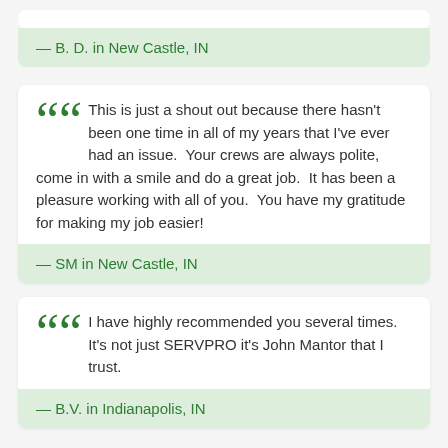— B. D. in New Castle, IN
This is just a shout out because there hasn't been one time in all of my years that I've ever had an issue.  Your crews are always polite, come in with a smile and do a great job.  It has been a pleasure working with all of you.  You have my gratitude for making my job easier!
— SM in New Castle, IN
I have highly recommended you several times.  It's not just SERVPRO it's John Mantor that I trust.
— B.V. in Indianapolis, IN